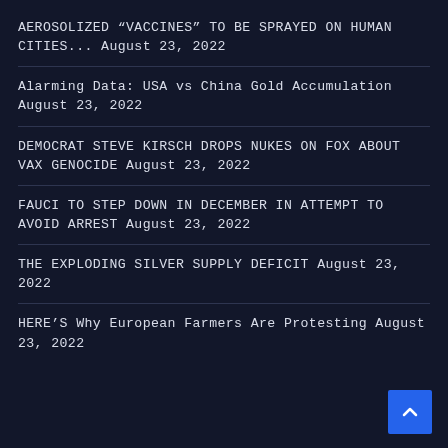AEROSOLIZED “VACCINES” TO BE SPRAYED ON HUMAN CITIES... August 23, 2022
Alarming Data: USA vs China Gold Accumulation August 23, 2022
DEMOCRAT STEVE KIRSCH DROPS NUKES ON FOX ABOUT VAX GENOCIDE August 23, 2022
FAUCI TO STEP DOWN IN DECEMBER IN ATTEMPT TO AVOID ARREST August 23, 2022
THE EXPLODING SILVER SUPPLY DEFICIT August 23, 2022
HERE’S Why European Farmers Are Protesting August 23, 2022